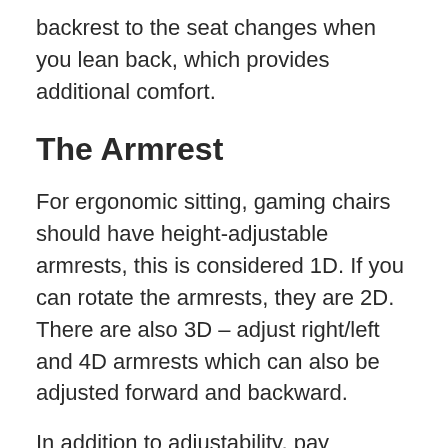backrest to the seat changes when you lean back, which provides additional comfort.
The Armrest
For ergonomic sitting, gaming chairs should have height-adjustable armrests, this is considered 1D. If you can rotate the armrests, they are 2D. There are also 3D – adjust right/left and 4D armrests which can also be adjusted forward and backward.
In addition to adjustability, pay attention to how the armrests are padded. Gamer chairs of the lower price range often have bare plastic armrests that are not very comfortable. High-quality models have well-padded armrests.